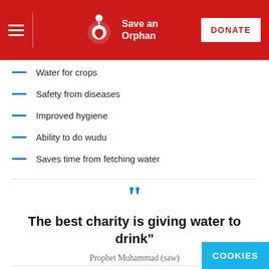Save an Orphan | DONATE
Water for crops
Safety from diseases
Improved hygiene
Ability to do wudu
Saves time from fetching water
“The best charity is giving water to drink”
Prophet Muhammad (saw)
DONATE TODAY AND TRANSFORM LIVES
From just £21 a month you can build a we... name or the name of a loved one acros...